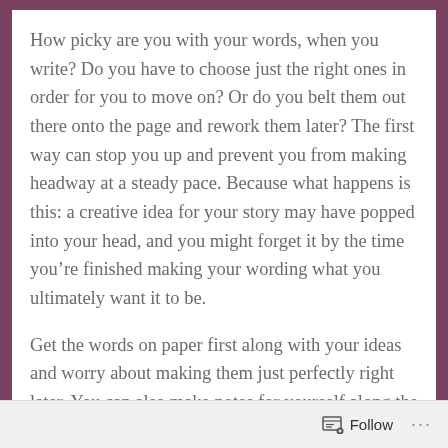How picky are you with your words, when you write? Do you have to choose just the right ones in order for you to move on? Or do you belt them out there onto the page and rework them later? The first way can stop you up and prevent you from making headway at a steady pace. Because what happens is this: a creative idea for your story may have popped into your head, and you might forget it by the time you're finished making your wording what you ultimately want it to be.
Get the words on paper first along with your ideas and worry about making them just perfectly right later. You can also make notes for yourself along the way about what you want to go back and fix.
Follow ...